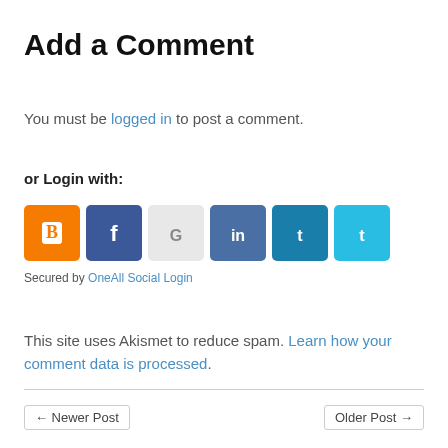Add a Comment
You must be logged in to post a comment.
or Login with:
[Figure (other): Six social login icon buttons: Blogger (orange), Facebook (dark blue), Google (light gray), LinkedIn (steel blue), Twitter/X dark teal, Twitter/X light blue]
Secured by OneAll Social Login
This site uses Akismet to reduce spam. Learn how your comment data is processed.
← Newer Post
Older Post →